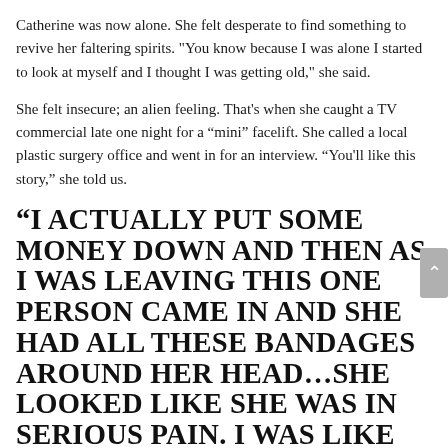Catherine was now alone. She felt desperate to find something to revive her faltering spirits. "You know because I was alone I started to look at myself and I thought I was getting old," she said.
She felt insecure; an alien feeling. That's when she caught a TV commercial late one night for a “mini” facelift. She called a local plastic surgery office and went in for an interview. “You'll like this story,” she told us.
“I ACTUALLY PUT SOME MONEY DOWN AND THEN AS I WAS LEAVING THIS ONE PERSON CAME IN AND SHE HAD ALL THESE BANDAGES AROUND HER HEAD…SHE LOOKED LIKE SHE WAS IN SERIOUS PAIN. I WAS LIKE ‘OOOOH RED FLAG…’”